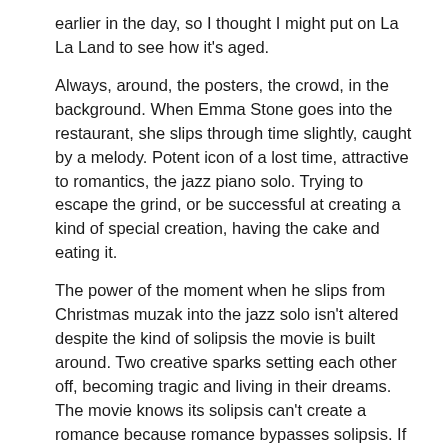earlier in the day, so I thought I might put on La La Land to see how it's aged.
Always, around, the posters, the crowd, in the background. When Emma Stone goes into the restaurant, she slips through time slightly, caught by a melody. Potent icon of a lost time, attractive to romantics, the jazz piano solo. Trying to escape the grind, or be successful at creating a kind of special creation, having the cake and eating it.
The power of the moment when he slips from Christmas muzak into the jazz solo isn't altered despite the kind of solipsis the movie is built around. Two creative sparks setting each other off, becoming tragic and living in their dreams. The movie knows its solipsis can't create a romance because romance bypasses solipsis. If you were unhappy with the end of the film, you weren't watching properly – these people aren't meant for each other. They're two people in a traffic jam in L.A. getting mad at each other, always out of sync. And maybe that works for them.
The characters are obsessed with trying to slip into the old